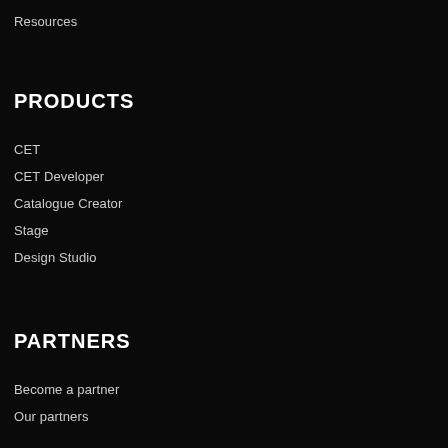Resources
PRODUCTS
CET
CET Developer
Catalogue Creator
Stage
Design Studio
PARTNERS
Become a partner
Our partners